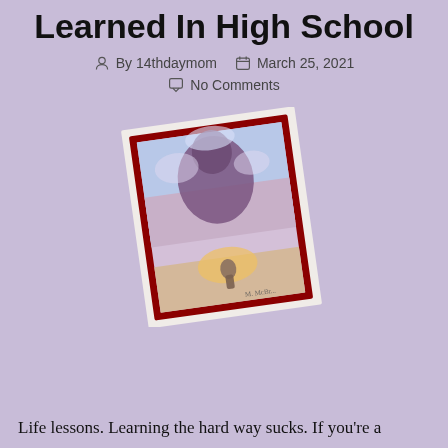Learned In High School
By 14thdaymom   March 25, 2021   No Comments
[Figure (illustration): A slightly tilted painting/artwork with a dark red border, showing a surreal scene with a large figure in the sky above a small figure on the ground, with warm pink and blue tones.]
Life lessons. Learning the hard way sucks. If you're a